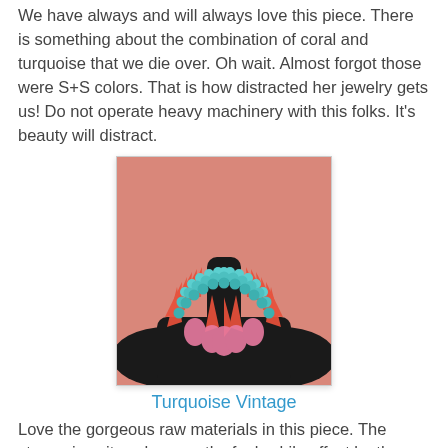We have always and will always love this piece. There is something about the combination of coral and turquoise that we die over. Oh wait. Almost forgot those were S+S colors. That is how distracted her jewelry gets us! Do not operate heavy machinery with this folks. It's beauty will distract.
[Figure (photo): A necklace with turquoise beads and coral/red spikes with pink stone pendants displayed on a black mannequin bust against a coral/pink background.]
Turquoise Vintage
Love the gorgeous raw materials in this piece. The stone gives it such an earthy feel, while offset by the large colorful baubles. Gorg.
[Figure (photo): Partial view of another jewelry piece with a pinkish-coral background, image cut off at bottom of page.]